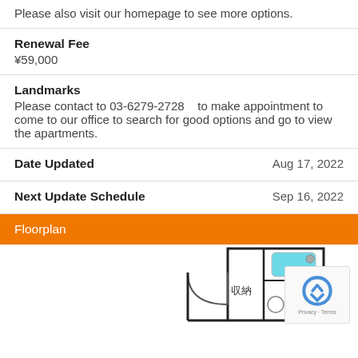Please also visit our homepage to see more options.
Renewal Fee
¥59,000
Landmarks
Please contact to 03-6279-2728    to make appointment to come to our office to search for good options and go to view the apartments.
Date Updated
Aug 17, 2022
Next Update Schedule
Sep 16, 2022
Floorplan
[Figure (illustration): Apartment floorplan diagram showing bathroom/storage area with Japanese text 収納, with a reCAPTCHA widget in the bottom right corner.]